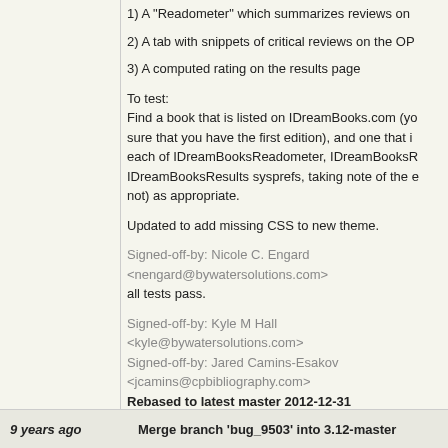1) A "Readometer" which summarizes reviews on
2) A tab with snippets of critical reviews on the OP
3) A computed rating on the results page
To test:
Find a book that is listed on IDreamBooks.com (yo sure that you have the first edition), and one that is each of IDreamBooksReadometer, IDreamBooksR IDreamBooksResults sysprefs, taking note of the e not) as appropriate.
Updated to add missing CSS to new theme.
Signed-off-by: Nicole C. Engard <nengard@bywatersolutions.com>
all tests pass.
Signed-off-by: Kyle M Hall <kyle@bywatersolutions.com>
Signed-off-by: Jared Camins-Esakov <jcamins@cpbibliography.com>
Rebased to latest master 2012-12-31
Signed-off-by: Jonathan Druart <jonathan.druart@biblibre.com>
Signed-off-by: Jared Camins-Esakov <jcamins@cpbibliography.com>
9 years ago
Merge branch 'bug_9503' into 3.12-master